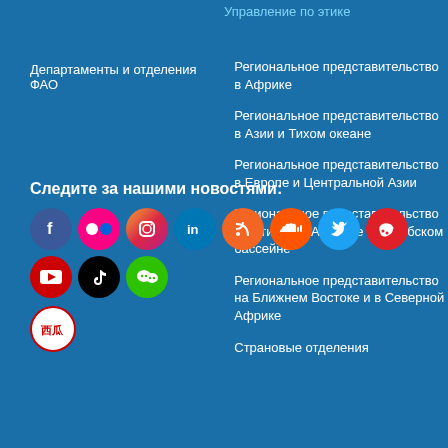Управление по этике
Департаменты и отделения ФАО
Региональное представительство в Африке
Региональное представительство в Азии и Тихом океане
Региональное представительство в Европе и Центральной Азии
Региональное представительство в Латинской Америке и Карибском бассейне
Региональное представительство на Ближнем Востоке и в Северной Африке
Страновые отделения
Следите за нашими новостями:
[Figure (infographic): Social media icons row: Facebook, Flickr, Instagram, LinkedIn, RSS, SoundCloud, Twitter, Weibo, YouTube, TikTok, WeChat, and a second row with Xigua (西瓜) icon]